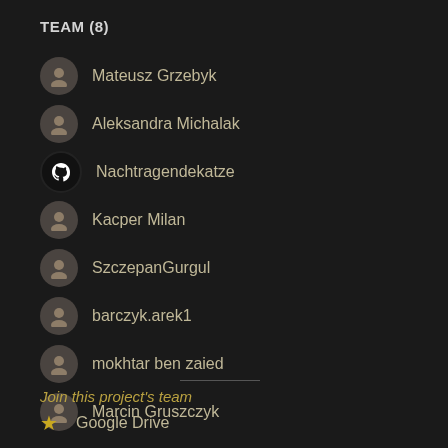TEAM (8)
Mateusz Grzebyk
Aleksandra Michalak
Nachtragendekatze
Kacper Milan
SzczepanGurgul
barczyk.arek1
mokhtar ben zaied
Marcin Gruszczyk
Join this project's team
Google Drive
Youtube